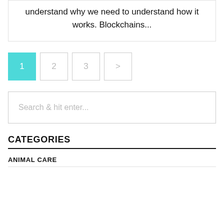understand why we need to understand how it works. Blockchains...
1 2 3 >
Search & hit enter...
CATEGORIES
ANIMAL CARE